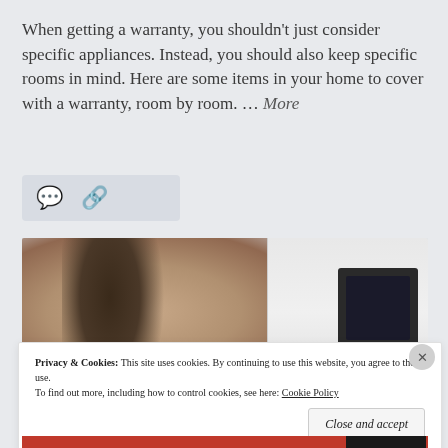When getting a warranty, you shouldn't just consider specific appliances. Instead, you should also keep specific rooms in mind. Here are some items in your home to cover with a warranty, room by room. … More
[Figure (other): Icon bar with comment bubble and link/chain icon on light gray background]
[Figure (photo): Woman with long dark hair wearing headphones, viewed from the side, looking at a white washing machine or appliance with a dark digital display panel. Background is light/white.]
Privacy & Cookies: This site uses cookies. By continuing to use this website, you agree to their use. To find out more, including how to control cookies, see here: Cookie Policy
Close and accept